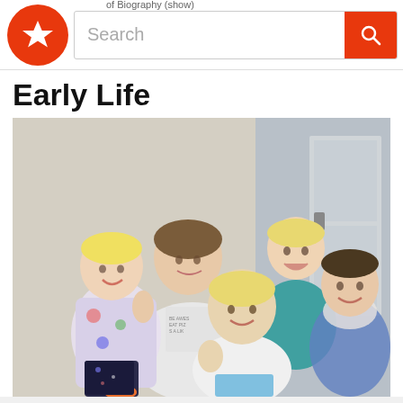of Biography (show)
Early Life
[Figure (photo): Five children posing together outdoors near a door. A teenage girl in a white hoodie holds a toddler on the left. Three other children pose to the right, two making hand gestures. The children are smiling and appear to be siblings.]